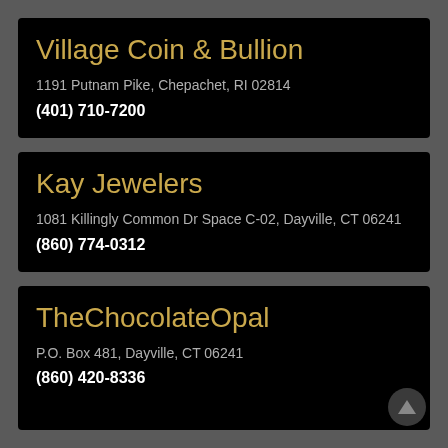Village Coin & Bullion
1191 Putnam Pike, Chepachet, RI 02814
(401) 710-7200
Kay Jewelers
1081 Killingly Common Dr Space C-02, Dayville, CT 06241
(860) 774-0312
TheChocolateOpal
P.O. Box 481, Dayville, CT 06241
(860) 420-8336